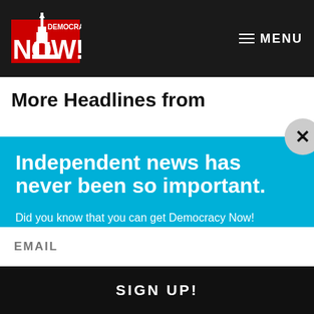Democracy Now! — MENU
More Headlines from
[Figure (other): Modal popup overlay with cyan/blue background]
Independent news has never been so important.
Did you know that you can get Democracy Now! delivered to your inbox every day? Sign up for our Daily News Digest today! Don't worry, we'll never share or sell your information.
EMAIL
SIGN UP!